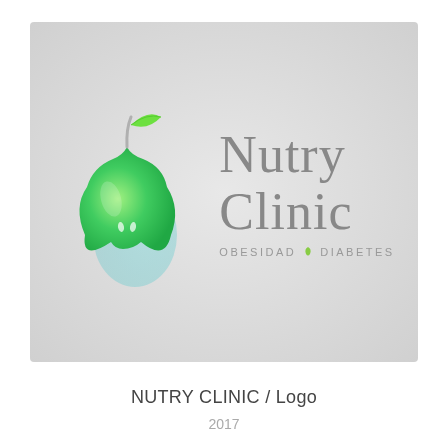[Figure (logo): Nutry Clinic logo featuring a green pear with gradient coloring and a leaf on top, alongside cursive text reading 'Nutry Clinic' and the tagline 'OBESIDAD • DIABETES' on a light gray background]
NUTRY CLINIC / Logo
2017